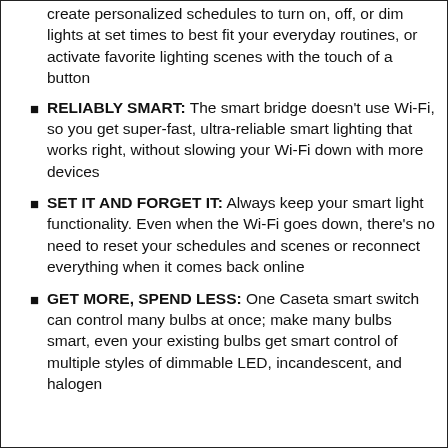create personalized schedules to turn on, off, or dim lights at set times to best fit your everyday routines, or activate favorite lighting scenes with the touch of a button
RELIABLY SMART: The smart bridge doesn't use Wi-Fi, so you get super-fast, ultra-reliable smart lighting that works right, without slowing your Wi-Fi down with more devices
SET IT AND FORGET IT: Always keep your smart light functionality. Even when the Wi-Fi goes down, there's no need to reset your schedules and scenes or reconnect everything when it comes back online
GET MORE, SPEND LESS: One Caseta smart switch can control many bulbs at once; make many bulbs smart, even your existing bulbs get smart control of multiple styles of dimmable LED, incandescent, and halogen